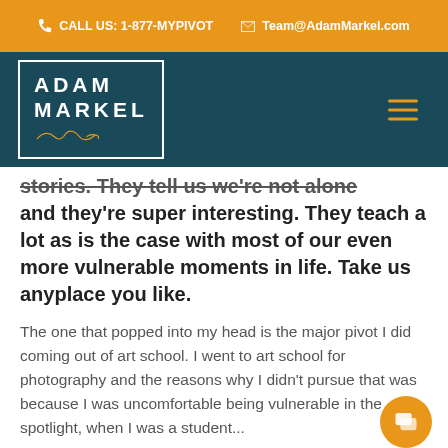CALL US: 1-877-MYPIVOT   Team@AdamMarkel.com
[Figure (logo): Adam Markel logo in a white border box on dark teal navigation bar with hamburger menu icon]
stories. They tell us we're not alone and they're super interesting. They teach a lot as is the case with most of our even more vulnerable moments in life. Take us anyplace you like.
The one that popped into my head is the major pivot I did coming out of art school. I went to art school for photography and the reasons why I didn't pursue that was because I was uncomfortable being vulnerable in the spotlight, when I was a student...